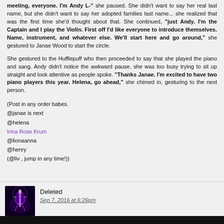meeting, everyone. I'm Andy L-" she paused. She didn't want to say her real last name, but she didn't want to say her adopted families last name... she realized that was the first time she'd thought about that. She continued, "just Andy. I'm the Captain and I play the Violin. First off I'd like everyone to introduce themselves. Name, instrument, and whatever else. We'll start here and go around," she gestured to Janae Wood to start the circle.
She gestured to the Hufflepuff who then proceeded to say that she played the piano and sang. Andy didn't notice the awkward pause, she was too busy trying to sit up straight and look attentive as people spoke. "Thanks Janae. I'm excited to have two piano players this year. Helena, go ahead," she chimed in, gesturing to the next person.
(Post in any order babes.
@janae is next
@helena
Irina Rose Krum
@lionaanna
@henry
(@liv , jump in any time!))
Deleted
Sep 7, 2016 at 6:26pm